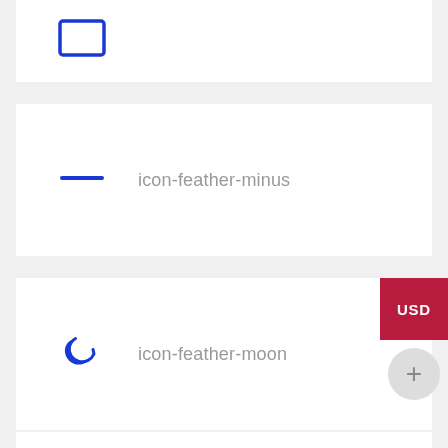[Figure (illustration): Blue outlined square/rectangle icon (icon-feather-square or similar), partially visible at top of page]
[Figure (illustration): Blue horizontal minus/dash line icon representing icon-feather-minus]
icon-feather-minus
[Figure (illustration): Blue crescent moon icon representing icon-feather-moon]
icon-feather-moon
[Figure (illustration): Blue monitor/desktop computer icon representing icon-feather-monitor]
icon-feather-monitor